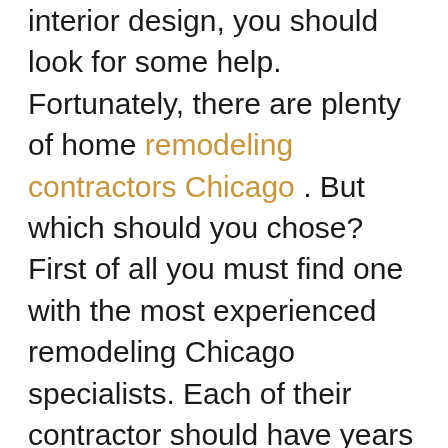interior design, you should look for some help. Fortunately, there are plenty of home remodeling contractors Chicago . But which should you chose? First of all you must find one with the most experienced remodeling Chicago specialists. Each of their contractor should have years of experience in remodeling – from the basement to the bathroom remodeling contractors to the kitchen remodeling contractors and beyond, they have to know how to do the job. At the same time they should